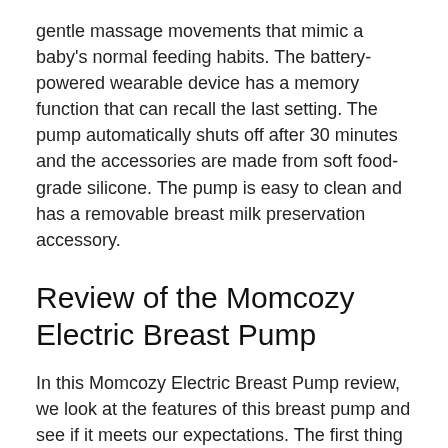gentle massage movements that mimic a baby's normal feeding habits. The battery-powered wearable device has a memory function that can recall the last setting. The pump automatically shuts off after 30 minutes and the accessories are made from soft food-grade silicone. The pump is easy to clean and has a removable breast milk preservation accessory.
Review of the Momcozy Electric Breast Pump
In this Momcozy Electric Breast Pump review, we look at the features of this breast pump and see if it meets our expectations. The first thing you should notice is the ease of use. It doesn't hang from your chest and comes with silicone breast shields that protect your skin. It has better